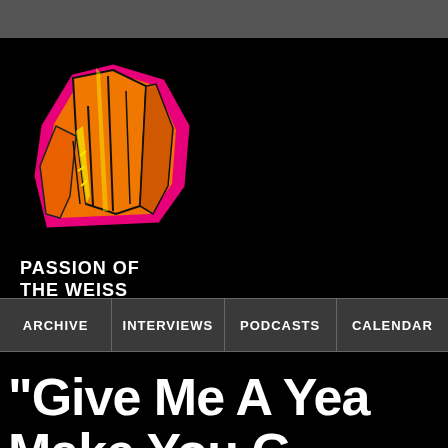[Figure (logo): Passion of the Weiss logo — illustrated orange crystal/rock shape with pink outline and yellow highlights, hand-drawn style on black background]
PASSION OF THE WEISS
ARCHIVE | INTERVIEWS | PODCASTS | CALENDAR
“Give Me A Yea Make You G